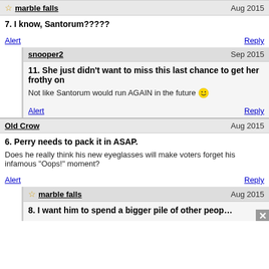marble falls — Aug 2015
7. I know, Santorum?????
Alert | Reply
snooper2 — Sep 2015
11. She just didn't want to miss this last chance to get her frothy on
Not like Santorum would run AGAIN in the future 😊
Alert | Reply
Old Crow — Aug 2015
6. Perry needs to pack it in ASAP.
Does he really think his new eyeglasses will make voters forget his infamous "Oops!" moment?
Alert | Reply
marble falls — Aug 2015
8. I want him to spend a bigger pile of other people's money first